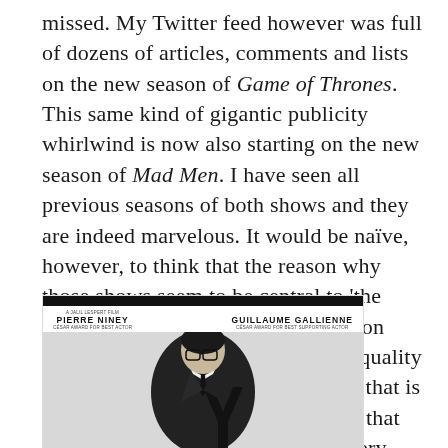missed. My Twitter feed however was full of dozens of articles, comments and lists on the new season of Game of Thrones. This same kind of gigantic publicity whirlwind is now also starting on the new season of Mad Men. I have seen all previous seasons of both shows and they are indeed marvelous. It would be naïve, however, to think that the reason why those shows seem to be central to 'the conversation' that happens socially on culture is because of their inherent quality or their superiority to anything else that is happening at the moment or indeed that they're sufficient to the needs of every cultural conversation worth having.
[Figure (photo): Black and white movie poster featuring a man in a dark suit and glasses holding a large 'Y' shape, with actor names PIERRE NINEY and GUILLAUME GALLIENNE at top, and a thick black bar across the top of the poster.]